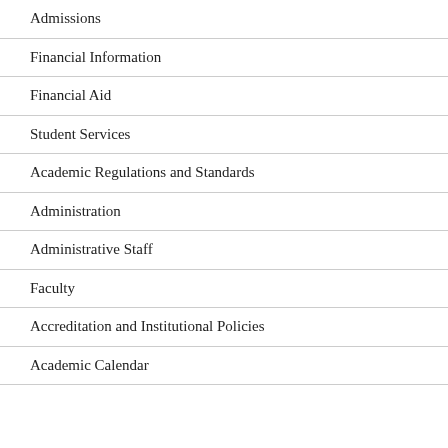Admissions
Financial Information
Financial Aid
Student Services
Academic Regulations and Standards
Administration
Administrative Staff
Faculty
Accreditation and Institutional Policies
Academic Calendar